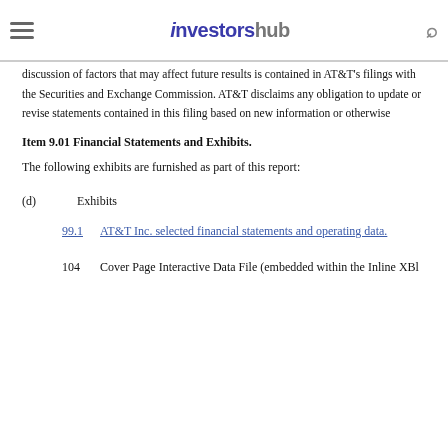investorshub
discussion of factors that may affect future results is contained in AT&T's filings with the Securities and Exchange Commission. AT&T disclaims any obligation to update or revise statements contained in this filing based on new information or otherwise
Item 9.01 Financial Statements and Exhibits.
The following exhibits are furnished as part of this report:
(d)    Exhibits
99.1   AT&T Inc. selected financial statements and operating data.
104   Cover Page Interactive Data File (embedded within the Inline XBl